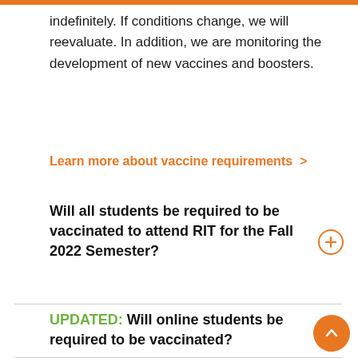indefinitely. If conditions change, we will reevaluate. In addition, we are monitoring the development of new vaccines and boosters.
Learn more about vaccine requirements >
Will all students be required to be vaccinated to attend RIT for the Fall 2022 Semester?
UPDATED: Will online students be required to be vaccinated?
Will faculty and staff be required